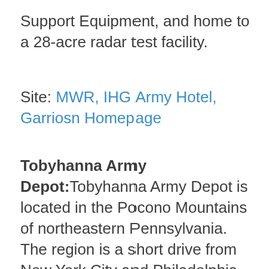Support Equipment, and home to a 28-acre radar test facility.
Site: MWR, IHG Army Hotel, Garriosn Homepage
Tobyhanna Army Depot: Tobyhanna Army Depot is located in the Pocono Mountains of northeastern Pennsylvania. The region is a short drive from New York City and Philadelphia and offers year-round outdoor recreation activities for the entire Family. The area boasts seven state parks, 18 waterfalls, 150 lakes, 170 river miles and the 70,000-acre